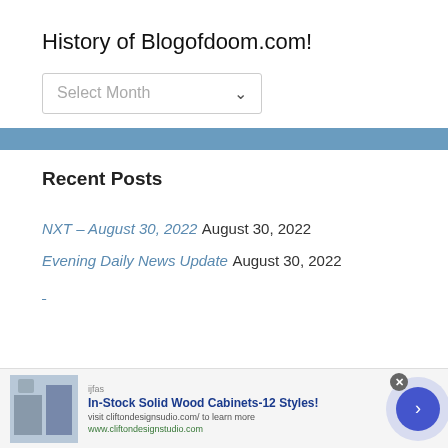History of Blogofdoom.com!
Select Month
Recent Posts
NXT – August 30, 2022 August 30, 2022
Evening Daily News Update August 30, 2022
[Figure (infographic): Advertisement banner: In-Stock Solid Wood Cabinets-12 Styles! visit cliftondesignsudio.com/ to learn more, www.cliftondesignstudio.com]